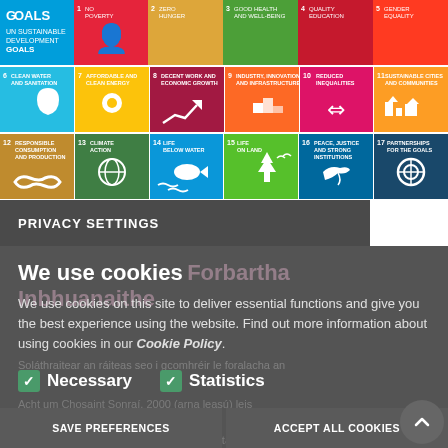[Figure (infographic): UN Sustainable Development Goals icon grid showing goals 1-5 (top row partial), goals 6-11 (middle row), and goals 12-17 (bottom row) with colored tiles and white icons]
PRIVACY SETTINGS
We use cookies
We use cookies on this site to deliver essential functions and give you the best experience using the website. Find out more information about using cookies in our Cookie Policy.
Necessary
Statistics
SAVE PREFERENCES
ACCEPT ALL COOKIES